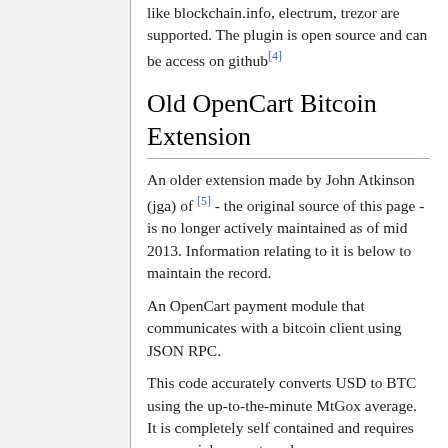like blockchain.info, electrum, trezor are supported. The plugin is open source and can be access on github[4]
Old OpenCart Bitcoin Extension
An older extension made by John Atkinson (jga) of [5] - the original source of this page - is no longer actively maintained as of mid 2013. Information relating to it is below to maintain the record.
An OpenCart payment module that communicates with a bitcoin client using JSON RPC.
This code accurately converts USD to BTC using the up-to-the-minute MtGox average. It is completely self contained and requires no cron jobs or external